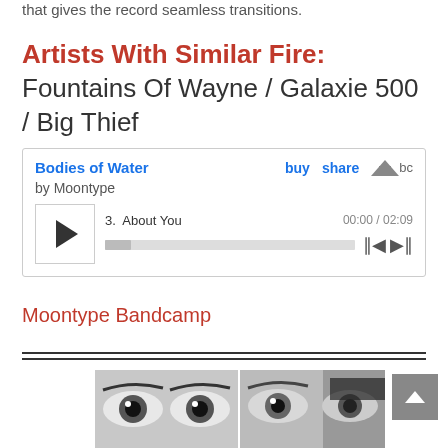that gives the record seamless transitions.
Artists With Similar Fire: Fountains Of Wayne / Galaxie 500 / Big Thief
[Figure (screenshot): Bandcamp embedded music player showing 'Bodies of Water' by Moontype, with play button, track 3 'About You', time 00:00 / 02:09, progress bar, skip controls, buy and share links, and Bandcamp logo.]
Moontype Bandcamp
[Figure (photo): Black and white close-up photo strip of two pairs of human eyes side by side.]
[Figure (other): Gray scroll-to-top button with upward arrow chevron.]